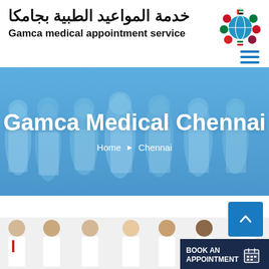خدمة المواعيد الطبية بجامكا
Gamca medical appointment service
[Figure (logo): Circular logo with country flags around a globe in the center]
[Figure (photo): Hero banner with blue overlay showing group of smiling medical professionals in white coats and scrubs]
Gamca Medical Chennai
Home > Chennai
[Figure (other): Scroll to top button (blue square with up arrow)]
[Figure (photo): Row of doctors and medical professionals in white coats]
BOOK AN APPOINTMENT